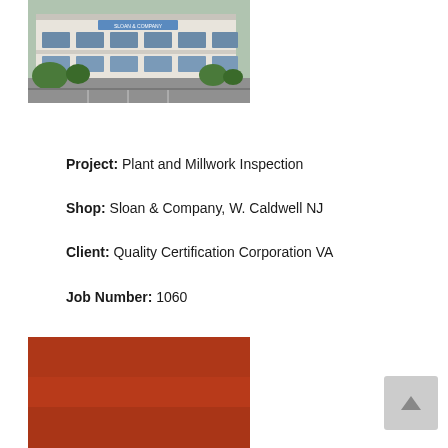[Figure (photo): Exterior photo of Sloan & Company building, a two-story commercial/industrial building with parking lot and trees, W. Caldwell NJ]
Project: Plant and Millwork Inspection
Shop: Sloan & Company, W. Caldwell NJ
Client: Quality Certification Corporation VA
Job Number: 1060
[Figure (photo): Partially visible photo with prominent reddish-brown/rust color covering the visible area (bottom photo, cropped)]